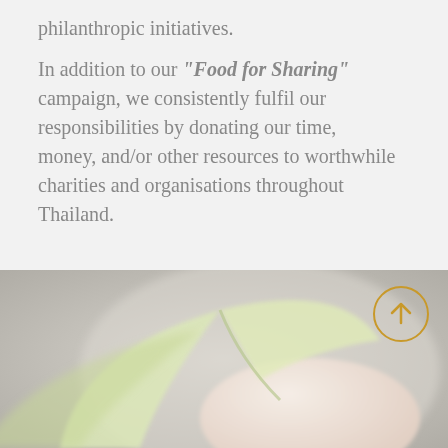philanthropic initiatives. In addition to our "Food for Sharing" campaign, we consistently fulfil our responsibilities by donating our time, money, and/or other resources to worthwhile charities and organisations throughout Thailand.
[Figure (photo): Close-up photo of a small green plant seedling with translucent leaves resting on or near a light-colored surface, with blurred grey background. A gold circular arrow (scroll-to-top) button overlays the top-right area.]